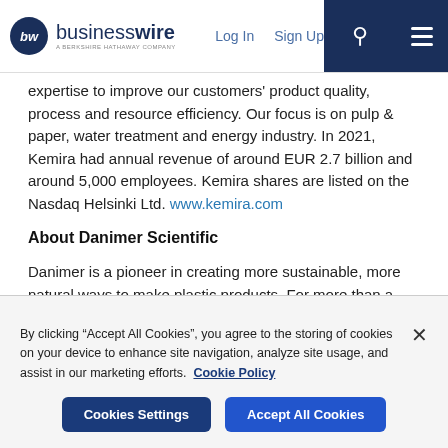businesswire — A Berkshire Hathaway Company | Log In | Sign Up
expertise to improve our customers' product quality, process and resource efficiency. Our focus is on pulp & paper, water treatment and energy industry. In 2021, Kemira had annual revenue of around EUR 2.7 billion and around 5,000 employees. Kemira shares are listed on the Nasdaq Helsinki Ltd. www.kemira.com
About Danimer Scientific
Danimer is a pioneer in creating more sustainable, more natural ways to make plastic products. For more than a decade, its renewable and sustainable biopolymers have helped create plastic
By clicking "Accept All Cookies", you agree to the storing of cookies on your device to enhance site navigation, analyze site usage, and assist in our marketing efforts. Cookie Policy
Cookies Settings | Accept All Cookies